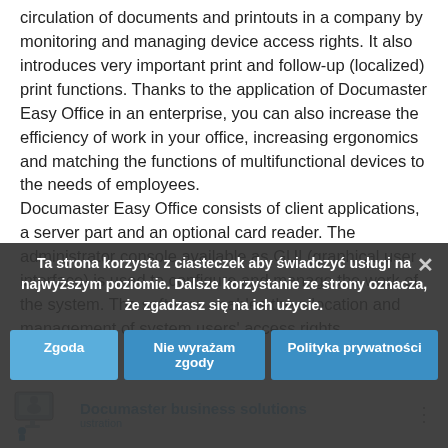circulation of documents and printouts in a company by monitoring and managing device access rights. It also introduces very important print and follow-up (localized) print functions. Thanks to the application of Documaster Easy Office in an enterprise, you can also increase the efficiency of work in your office, increasing ergonomics and matching the functions of multifunctional devices to the needs of employees.
Documaster Easy Office consists of client applications, a server part and an optional card reader. The administrator console available as GUI (graphical user interface) is used to configure and manage the work of the system. The software enables the allocation and management of system users' access rights. .
Ta strona korzysta z ciasteczek aby świadczyć usługi na najwyższym poziomie. Dalsze korzystanie ze strony oznacza, że zgadzasz się na ich użycie.
[Figure (logo): Documaster business solutions logo with icon and text]